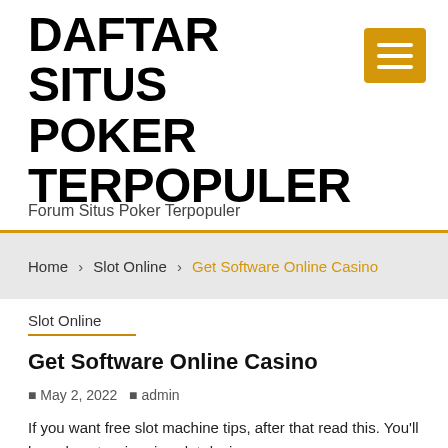DAFTAR SITUS POKER TERPOPULER
Forum Situs Poker Terpopuler
Home › Slot Online › Get Software Online Casino
Slot Online
Get Software Online Casino
May 2, 2022  admin
If you want free slot machine tips, after that read this. You'll learn how to win prize slot devices.